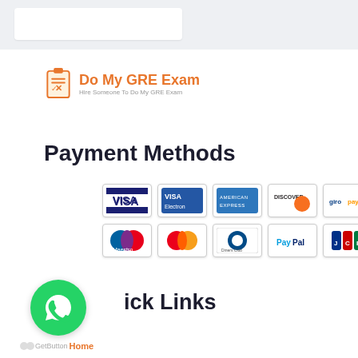[Figure (logo): Do My GRE Exam logo with clipboard icon and tagline 'Hire Someone To Do My GRE Exam']
Payment Methods
[Figure (infographic): Payment method icons: VISA, VISA Electron, American Express, Discover, Giropay, Alipay, Maestro, MasterCard, Diners Club, PayPal, JCB, Wire Transfer]
Quick Links
Home